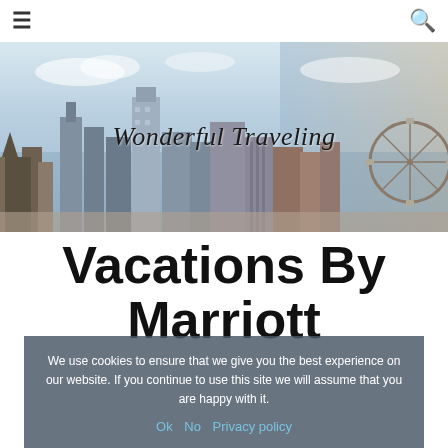☰ [menu] [search]
[Figure (photo): City skyline panoramic photo with sky background, used as a website banner for 'Wonderful Traveling' travel blog]
Wonderful Traveling
Vacations By Marriott
We use cookies to ensure that we give you the best experience on our website. If you continue to use this site we will assume that you are happy with it.
Ok   No   Privacy policy